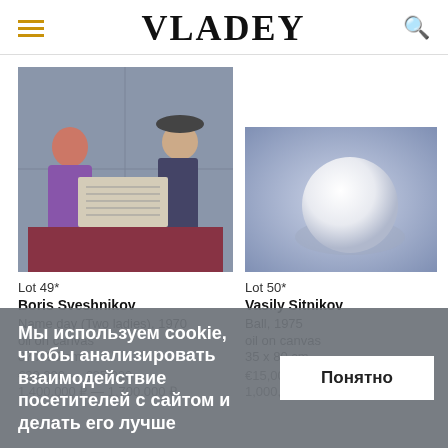VLADEY
[Figure (photo): Painting by Boris Sveshnikov - Name day (Two ladies), 1970, oil on canvas. Two figures with a newspaper, muted blue tones.]
[Figure (photo): Painting by Vasily Sitnikov - Ball, 1975, oil on canvas. Abstract ball on blue background.]
Lot 49*
Boris Sveshnikov
Name day (Two ladies), 1970
oil on canvas
87 x 95 cm
€20,000 — €25,000
1,400,000 ₽ — 1,700,000 ₽
Lot 50*
Vasily Sitnikov
Ball, 1975
oil on canvas
35 x 80 cm
€15,000 — €20,000
1,000,000 ₽ — 1,400,000 ₽
Мы используем cookie, чтобы анализировать взаимодействие посетителей с сайтом и делать его лучше
Понятно